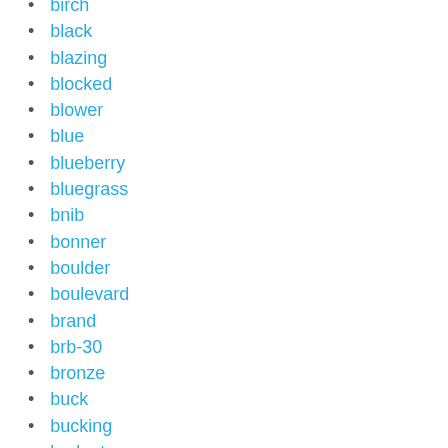birch
black
blazing
blocked
blower
blue
blueberry
bluegrass
bnib
bonner
boulder
boulevard
brand
brb-30
bronze
buck
bucking
budget
build
building
burner